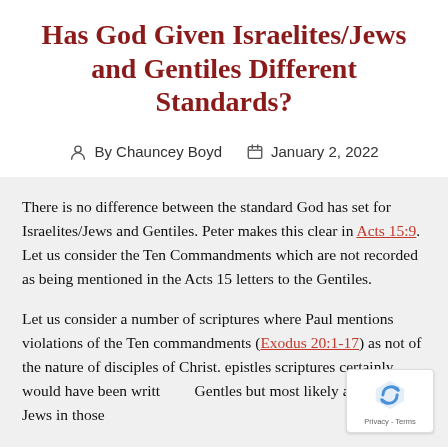Has God Given Israelites/Jews and Gentiles Different Standards?
By Chauncey Boyd   January 2, 2022
There is no difference between the standard God has set for Israelites/Jews and Gentiles. Peter makes this clear in Acts 15:9. Let us consider the Ten Commandments which are not recorded as being mentioned in the Acts 15 letters to the Gentiles.
Let us consider a number of scriptures where Paul mentions violations of the Ten commandments (Exodus 20:1-17) as not of the nature of disciples of Christ. epistles scriptures certainly would have been written to Gentles but most likely also included Jews in those